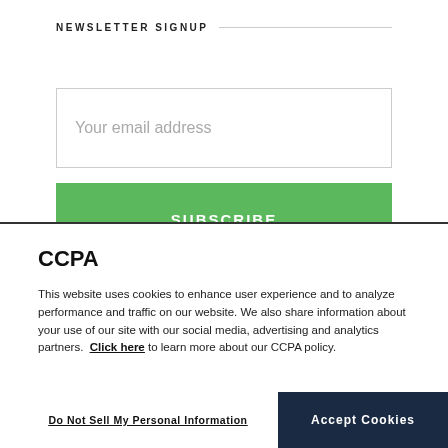NEWSLETTER SIGNUP
Your email address
SUBSCRIBE
CCPA
This website uses cookies to enhance user experience and to analyze performance and traffic on our website. We also share information about your use of our site with our social media, advertising and analytics partners.  Click here to learn more about our CCPA policy.
[Figure (illustration): Accessibility icon: circular dark outline with a person figure inside]
Do Not Sell My Personal Information
Accept Cookies